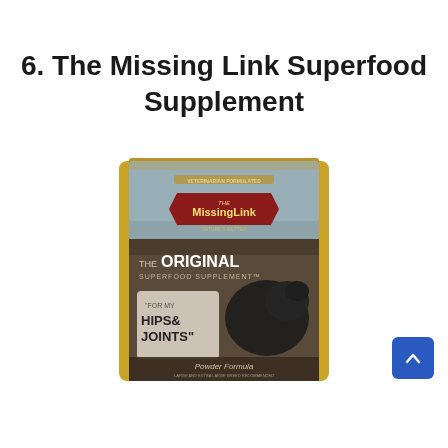6. The Missing Link Superfood Supplement
[Figure (photo): Product photo of The Missing Link Original Superfood Supplement bag for dogs - Hips & Joints Powder Formula, featuring a black dog image on the packaging with gold and dark brown/grey colors]
[Figure (other): Blue scroll-to-top button with upward chevron arrow in bottom right corner]